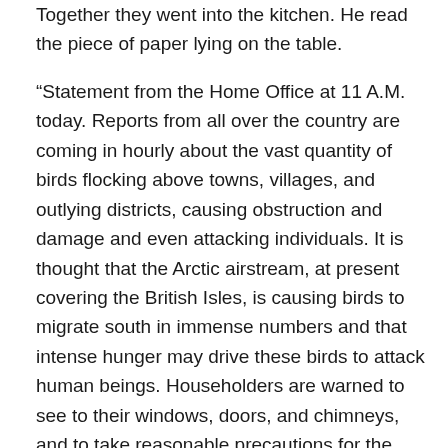Together they went into the kitchen. He read the piece of paper lying on the table.
“Statement from the Home Office at 11 A.M. today. Reports from all over the country are coming in hourly about the vast quantity of birds flocking above towns, villages, and outlying districts, causing obstruction and damage and even attacking individuals. It is thought that the Arctic airstream, at present covering the British Isles, is causing birds to migrate south in immense numbers and that intense hunger may drive these birds to attack human beings. Householders are warned to see to their windows, doors, and chimneys, and to take reasonable precautions for the safety of their children. A further statement will be issued later.”
A kind of excitement seized Nat; he looked at his wife in